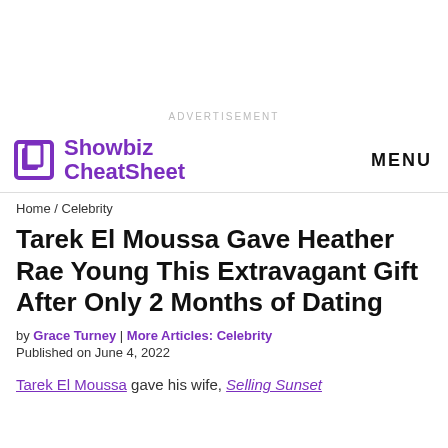ADVERTISEMENT
Showbiz CheatSheet | MENU
Home / Celebrity
Tarek El Moussa Gave Heather Rae Young This Extravagant Gift After Only 2 Months of Dating
by Grace Turney | More Articles: Celebrity
Published on June 4, 2022
Tarek El Moussa gave his wife, Selling Sunset